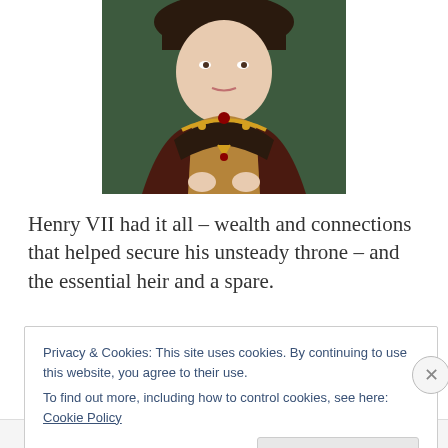[Figure (photo): Historical portrait painting of a young person wearing ornate jewelry and dark robes, cropped below the shoulders, against a green background.]
Henry VII had it all – wealth and connections that helped secure his unsteady throne – and the essential heir and a spare.
Privacy & Cookies: This site uses cookies. By continuing to use this website, you agree to their use.
To find out more, including how to control cookies, see here: Cookie Policy
Follow